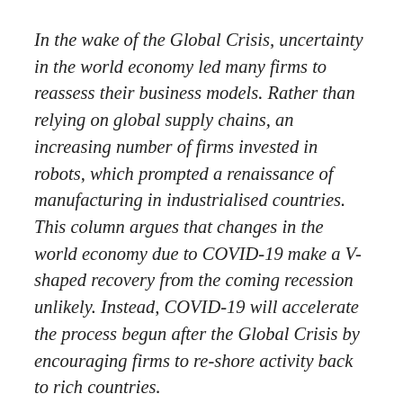In the wake of the Global Crisis, uncertainty in the world economy led many firms to reassess their business models. Rather than relying on global supply chains, an increasing number of firms invested in robots, which prompted a renaissance of manufacturing in industrialised countries. This column argues that changes in the world economy due to COVID-19 make a V-shaped recovery from the coming recession unlikely. Instead, COVID-19 will accelerate the process begun after the Global Crisis by encouraging firms to re-shore activity back to rich countries.
The COVID-19 pandemic has generated enormous uncertainty around the world